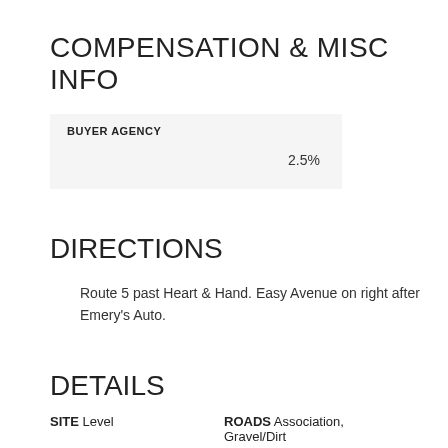COMPENSATION & MISC INFO
| BUYER AGENCY |  |
| --- | --- |
|  | 2.5% |
DIRECTIONS
Route 5 past Heart & Hand. Easy Avenue on right after Emery's Auto.
DETAILS
SITE Level    ROADS Association, Gravel/Dirt